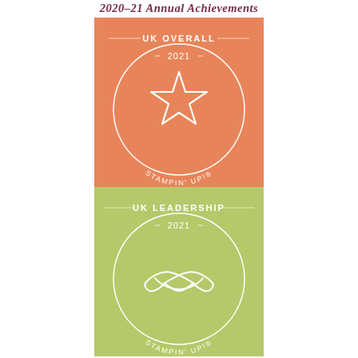2020–21 Annual Achievements
[Figure (illustration): Orange badge with 'UK OVERALL' text, '2021' above a circle containing a white star outline, and 'STAMPIN' UP!' curved text at the bottom. Stampin' Up! achievement badge.]
[Figure (illustration): Green badge with 'UK LEADERSHIP' text, '2021' above a circle containing white handshake icon outline, and 'STAMPIN' UP!' curved text at the bottom. Stampin' Up! leadership achievement badge.]